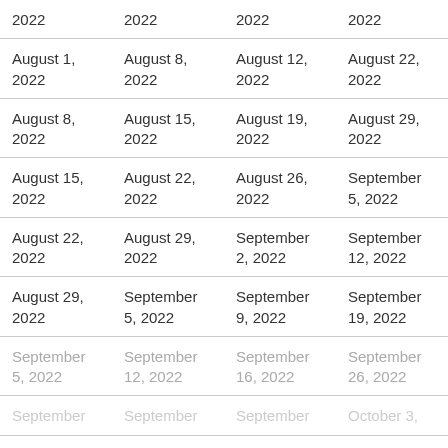| 2022 | 2022 | 2022 | 2022 |
| August 1, 2022 | August 8, 2022 | August 12, 2022 | August 22, 2022 |
| August 8, 2022 | August 15, 2022 | August 19, 2022 | August 29, 2022 |
| August 15, 2022 | August 22, 2022 | August 26, 2022 | September 5, 2022 |
| August 22, 2022 | August 29, 2022 | September 2, 2022 | September 12, 2022 |
| August 29, 2022 | September 5, 2022 | September 9, 2022 | September 19, 2022 |
| September 5, 2022 | September 12, 2022 | September 16, 2022 | September 26, 2022 |
| September | September | September | October 3, |